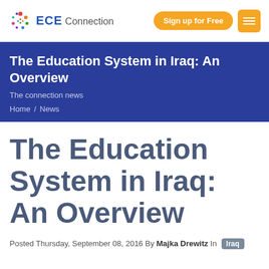ECE Connection — Sign up for Free [menu]
The Education System in Iraq: An Overview
The connection news
Home / News
The Education System in Iraq: An Overview
Posted Thursday, September 08, 2016 By Majka Drewitz In Iraq